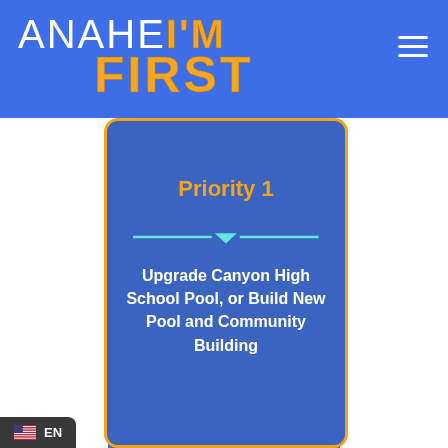[Figure (logo): Anaheim I'm First logo — white text ANAHE followed by bold orange I'M, then bold orange FIRST below, on blue background]
Priority 1
Upgrade Canyon High School Pool, or Build New Pool and Community Building
EN